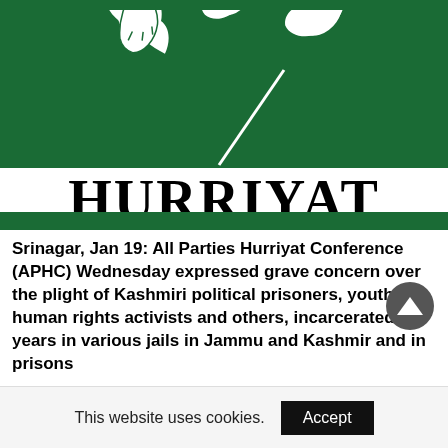[Figure (logo): Hurriyat logo: dark green background with three white maple-like leaves on a stem, with the word HURRIYAT in large serif black text below on white, and a dark green bar at the bottom]
Srinagar, Jan 19: All Parties Hurriyat Conference (APHC) Wednesday expressed grave concern over the plight of Kashmiri political prisoners, youth, human rights activists and others, incarcerated for years in various jails in Jammu and Kashmir and in prisons across India.
This website uses cookies.